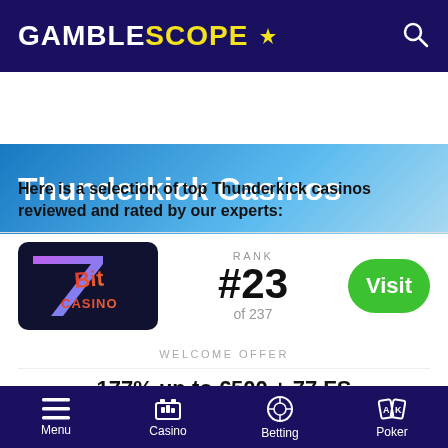GAMBLESCOPE
Thunderkick Casinos
Here is a selection of top Thunderkick casinos reviewed and rated by our experts:
[Figure (logo): 7Bit Casino logo on dark background]
RANK #23 of 237
Visit
WELCOME OFFER
177% up to €500 + 77 FS
Menu  Casino  Betting  Poker